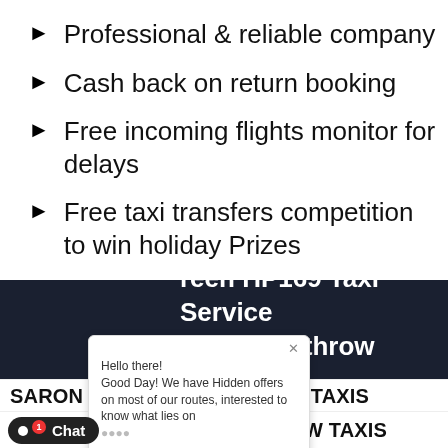Professional & reliable company
Cash back on return booking
Free incoming flights monitor for delays
Free taxi transfers competition to win holiday Prizes
[Figure (screenshot): Chat popup overlay with message: Hello there! Good Day! We have Hidden offers on most of our routes, interested to know what lies on... with Type input bar and icons]
reen HP169 Taxi Service nd To Heathrow Airport
SARON LL164 TO HEATHROW TAXIS
SEALAND CH16 TO HEATHROW TAXIS